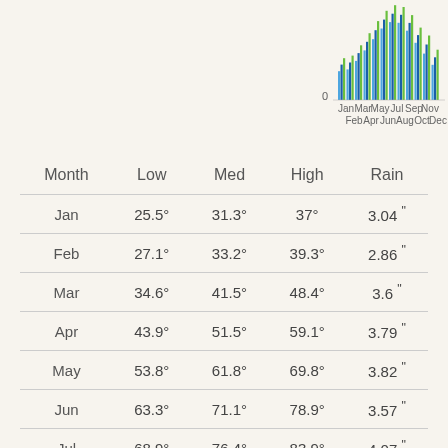[Figure (grouped-bar-chart): Monthly temperature and rain chart]
| Month | Low | Med | High | Rain |
| --- | --- | --- | --- | --- |
| Jan | 25.5° | 31.3° | 37° | 3.04 " |
| Feb | 27.1° | 33.2° | 39.3° | 2.86 " |
| Mar | 34.6° | 41.5° | 48.4° | 3.6 " |
| Apr | 43.9° | 51.5° | 59.1° | 3.79 " |
| May | 53.8° | 61.8° | 69.8° | 3.82 " |
| Jun | 63.3° | 71.1° | 78.9° | 3.57 " |
| Jul | 68.9° | 76.4° | 83.9° | 4.07 " |
| Aug | 68.3° | 75.4° | 82.3° | 3.75 " |
| Sep | 61.3° | 68.2° | 75.1° | 3.39 " |
| Oct | 50.6° | 57.4° | 64.1° | 3.93 " |